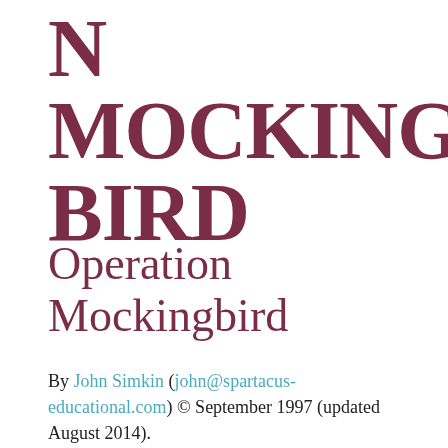N MOCKING BIRD
Operation Mockingbird
By John Simkin (john@spartacus-educational.com) © September 1997 (updated August 2014).